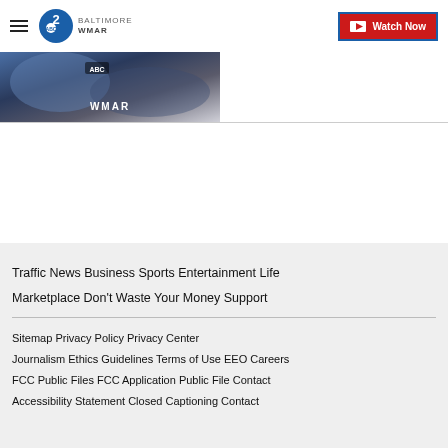WMAR Baltimore — Watch Now
[Figure (photo): Blurred thumbnail image showing WMAR Baltimore news branding with blue and dark tones]
Traffic  News  Business  Sports  Entertainment  Life  Marketplace  Don't Waste Your Money  Support
Sitemap  Privacy Policy  Privacy Center  Journalism Ethics Guidelines  Terms of Use  EEO  Careers  FCC Public Files  FCC Application  Public File Contact  Accessibility Statement  Closed Captioning Contact